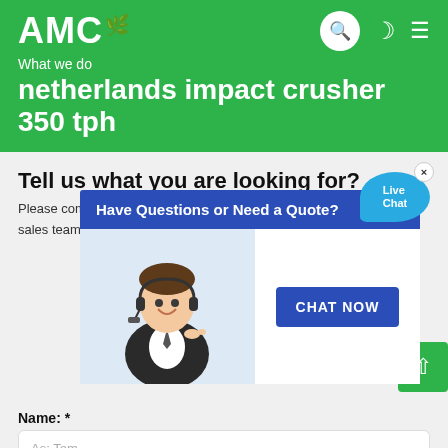AMC
What we do
netherlands impact crusher 350 tph
Tell us what you are looking for?
Please complete and submit the following form and our sales team will contact you shortly with our best prices.
[Figure (screenshot): Live chat popup overlay showing 'Have Questions or Need a Quote?' bar in dark blue with a close X button, a customer service woman photo, a CHAT NOW button, and a Live Chat bubble in the top right corner.]
Name: *
As: Tom
Email: *
As: vip@shanghaimeilan.com
Phone: *
With Country Code